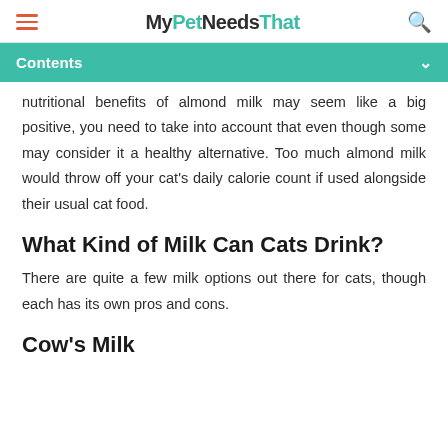MyPetNeedsThat
Contents
nutritional benefits of almond milk may seem like a big positive, you need to take into account that even though some may consider it a healthy alternative. Too much almond milk would throw off your cat's daily calorie count if used alongside their usual cat food.
What Kind of Milk Can Cats Drink?
There are quite a few milk options out there for cats, though each has its own pros and cons.
Cow's Milk